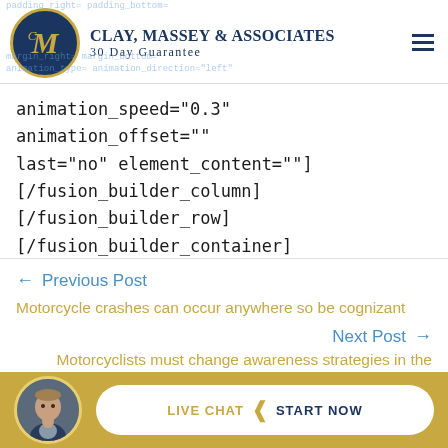Clay, Massey & Associates 30 Day Guarantee
animation_speed="0.3" animation_offset="" last="no" element_content=""] [/fusion_builder_column][/fusion_builder_row] [/fusion_builder_container]
← Previous Post
Motorcycle crashes can occur anywhere so be cognizant
Next Post →
Motorcyclists must change awareness strategies in the fall
[Figure (photo): Live Chat Start Now CTA bar with avatar photo of attorney]